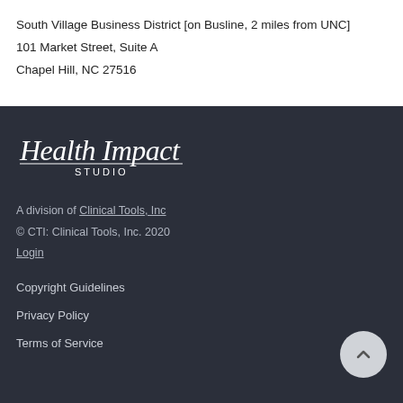South Village Business District [on Busline, 2 miles from UNC]
101 Market Street, Suite A
Chapel Hill, NC 27516
[Figure (logo): Health Impact Studio logo in white script on dark background]
A division of Clinical Tools, Inc
© CTI: Clinical Tools, Inc. 2020
Login
Copyright Guidelines
Privacy Policy
Terms of Service